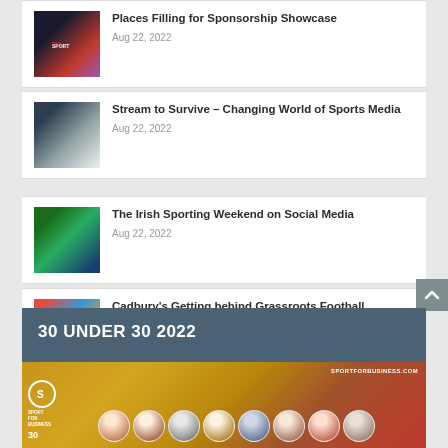Places Filling for Sponsorship Showcase
Aug 22, 2022
Stream to Survive – Changing World of Sports Media
Aug 22, 2022
The Irish Sporting Weekend on Social Media
Aug 22, 2022
Cadbury's Getting behind Grassroots Football
Aug 19, 2022
[Figure (other): 30 Under 30 2022 promotional banner with Sport for Business logo, sportforbusiness.com URL, and a row of portrait photos of young professionals on a golden-red background]
30 UNDER 30 2022